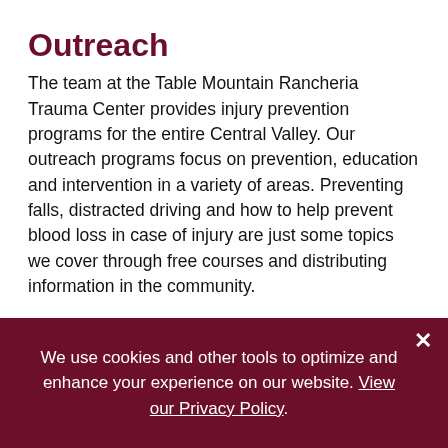Outreach
The team at the Table Mountain Rancheria Trauma Center provides injury prevention programs for the entire Central Valley. Our outreach programs focus on prevention, education and intervention in a variety of areas. Preventing falls, distracted driving and how to help prevent blood loss in case of injury are just some topics we cover through free courses and distributing information in the community.
Our injury prevention activities are managed by our injury prevention outreach specialist. These programs involve clinicians from across specialties. We also measure outcomes to evaluate the effectiveness of the programs. Our goal is to keep you safe, healthy and injury-free.
We use cookies and other tools to optimize and enhance your experience on our website. View our Privacy Policy.